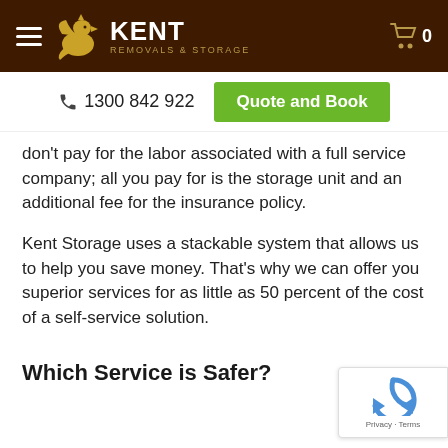[Figure (logo): Kent Removals & Storage logo with golden griffin on dark brown header background]
☎ 1300 842 922
Quote and Book
don't pay for the labor associated with a full service company; all you pay for is the storage unit and an additional fee for the insurance policy.
Kent Storage uses a stackable system that allows us to help you save money. That's why we can offer you superior services for as little as 50 percent of the cost of a self-service solution.
Which Service is Safer?